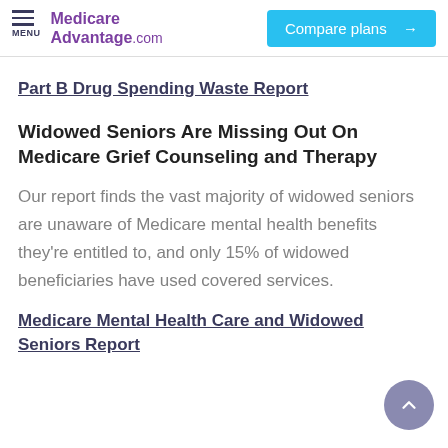Medicare Advantage.com | Compare plans →
Part B Drug Spending Waste Report
Widowed Seniors Are Missing Out On Medicare Grief Counseling and Therapy
Our report finds the vast majority of widowed seniors are unaware of Medicare mental health benefits they're entitled to, and only 15% of widowed beneficiaries have used covered services.
Medicare Mental Health Care and Widowed Seniors Report